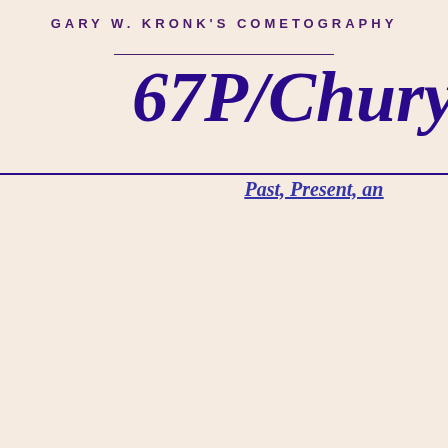GARY W. KRONK'S COMETOGRAPHY
67P/Churyu
Past, Present, an